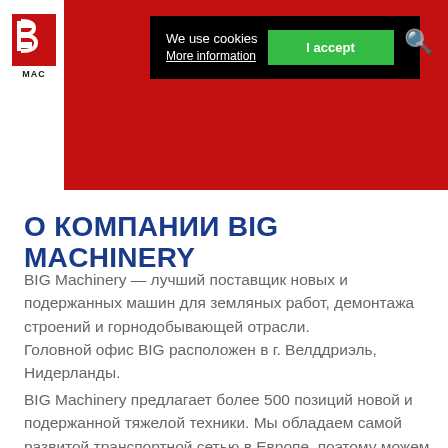[Figure (screenshot): Website header with red background, BIG Machinery logo on white area, cookie consent banner in black with green accept button, and search icon]
О КОМПАНИИ BIG MACHINERY
BIG Machinery — лучший поставщик новых и подержанных машин для земляных работ, демонтажа строений и горнодобывающей отрасли.
Головной офис BIG расположен в г. Велддриэль, Нидерланды.
BIG Machinery предлагает более 500 позиций новой и подержанной тяжелой техники. Мы обладаем самой развитой транспортной сетью в Европе, поэтому можем оперативно доставити